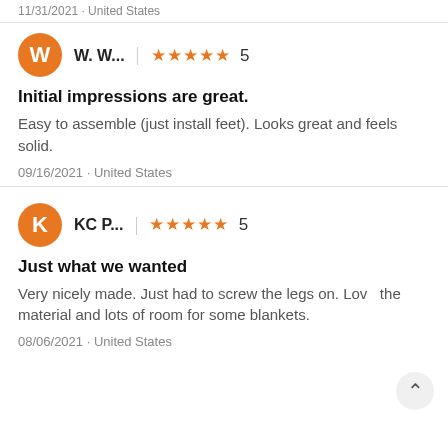11/31/2021 · United States
W. W... | ★★★★★ 5
Initial impressions are great.
Easy to assemble (just install feet). Looks great and feels solid.
09/16/2021 · United States
KC P... | ★★★★★ 5
Just what we wanted
Very nicely made. Just had to screw the legs on. Love the material and lots of room for some blankets.
08/06/2021 · United States